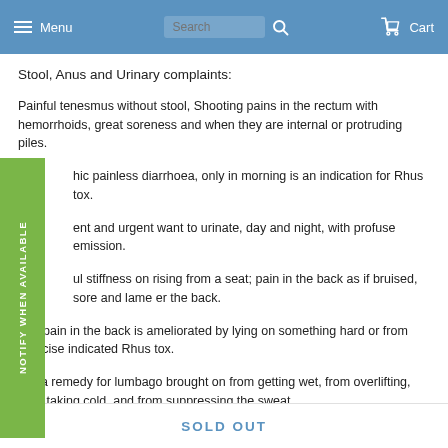Menu   Search   Cart
Stool, Anus and Urinary complaints:
Painful tenesmus without stool, Shooting pains in the rectum with hemorrhoids, great soreness and when they are internal or protruding piles.
...hic painless diarrhoea, only in morning is an indication for Rhus tox.
...ent and urgent want to urinate, day and night, with profuse emission.
...ul stiffness on rising from a seat; pain in the back as if bruised, sore and lame ...er the back.
The pain in the back is ameliorated by lying on something hard or from exercise indicated Rhus tox.
It is a remedy for lumbago brought on from getting wet, from overlifting, from taking cold, and from suppressing the sweat.
The spinal symptoms, weakness either of the lower limbs or of one part of the
SOLD OUT